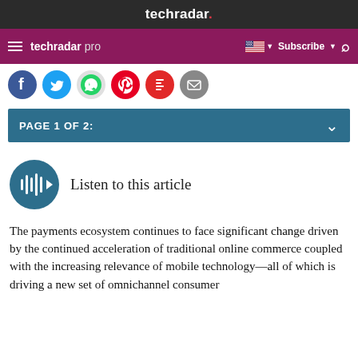techradar.
techradar pro  Subscribe
[Figure (screenshot): Social share icons row: Facebook, Twitter, WhatsApp, Pinterest, Flipboard, Email]
PAGE 1 OF 2:
[Figure (infographic): Listen to this article button — circular teal button with audio wave/play icon]
Listen to this article
The payments ecosystem continues to face significant change driven by the continued acceleration of traditional online commerce coupled with the increasing relevance of mobile technology—all of which is driving a new set of omnichannel consumer